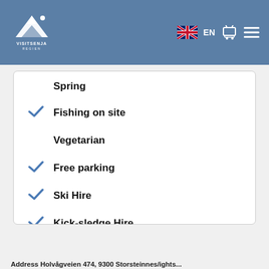VISITSENJA EN [cart] [menu]
Spring
Fishing on site
Vegetarian
Free parking
Ski Hire
Kick-sledge Hire
Campervan sites
Vegan
Address Holvågveien 474, 9300 Storsteinnes/ights...